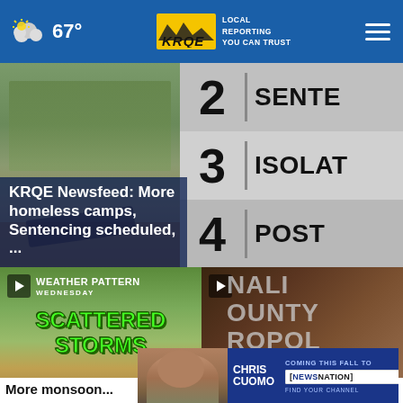67° | KRQE LOCAL REPORTING YOU CAN TRUST
[Figure (screenshot): KRQE Newsfeed hero image showing an outdoor scene on left and a scoreboard/list on right showing numbers 2, 3, 4 with labels SENTEN..., ISOLAT..., POST... with overlay headline: KRQE Newsfeed: More homeless camps, Sentencing scheduled, ...]
KRQE Newsfeed: More homeless camps, Sentencing scheduled, ...
[Figure (screenshot): Weather Pattern Wednesday thumbnail showing SCATTERED STORMS in green text over a map]
[Figure (screenshot): Bernalillo County Metropolitan thumbnail showing stone/building exterior]
[Figure (advertisement): Chris Cuomo - Coming this Fall to NewsNation - Find Your Channel advertisement banner]
More monsoon...
Jail seeing the...